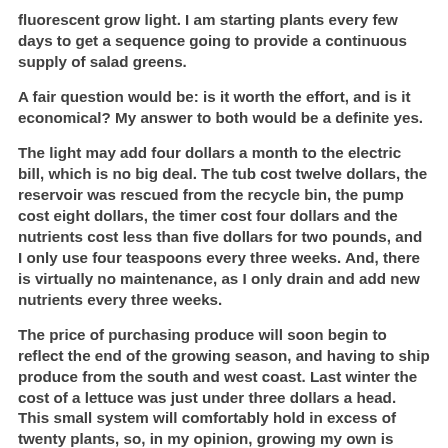fluorescent grow light. I am starting plants every few days to get a sequence going to provide a continuous supply of salad greens.
A fair question would be: is it worth the effort, and is it economical? My answer to both would be a definite yes.
The light may add four dollars a month to the electric bill, which is no big deal. The tub cost twelve dollars, the reservoir was rescued from the recycle bin, the pump cost eight dollars, the timer cost four dollars and the nutrients cost less than five dollars for two pounds, and I only use four teaspoons every three weeks. And, there is virtually no maintenance, as I only drain and add new nutrients every three weeks.
The price of purchasing produce will soon begin to reflect the end of the growing season, and having to ship produce from the south and west coast. Last winter the cost of a lettuce was just under three dollars a head. This small system will comfortably hold in excess of twenty plants, so, in my opinion, growing my own is